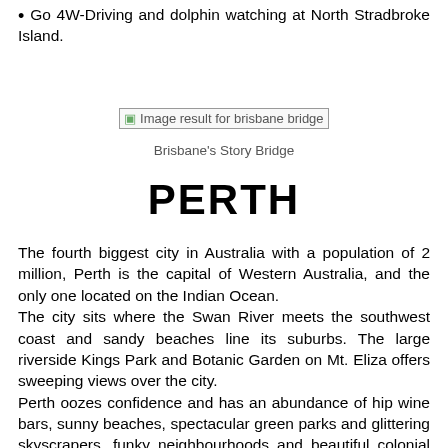Go 4W-Driving and dolphin watching at North Stradbroke Island.
[Figure (photo): Broken image placeholder for Brisbane bridge image, labeled 'Image result for brisbane bridge']
Brisbane's Story Bridge
PERTH
The fourth biggest city in Australia with a population of 2 million, Perth is the capital of Western Australia, and the only one located on the Indian Ocean.
The city sits where the Swan River meets the southwest coast and sandy beaches line its suburbs. The large riverside Kings Park and Botanic Garden on Mt. Eliza offers sweeping views over the city.
Perth oozes confidence and has an abundance of hip wine bars, sunny beaches, spectacular green parks and glittering skyscrapers, funky neighbourhoods and beautiful colonial architecture.
If you're wanting to head to the Western side of Australia